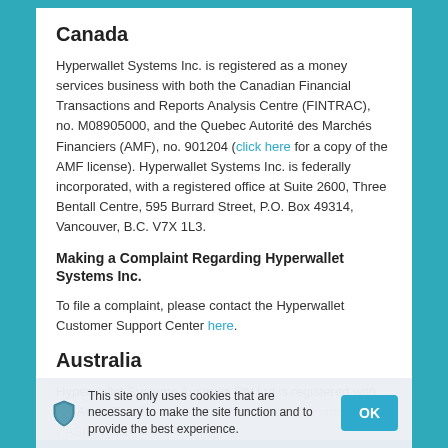Canada
Hyperwallet Systems Inc. is registered as a money services business with both the Canadian Financial Transactions and Reports Analysis Centre (FINTRAC), no. M08905000, and the Quebec Autorité des Marchés Financiers (AMF), no. 901204 (click here for a copy of the AMF license). Hyperwallet Systems Inc. is federally incorporated, with a registered office at Suite 2600, Three Bentall Centre, 595 Burrard Street, P.O. Box 49314, Vancouver, B.C. V7X 1L3.
Making a Complaint Regarding Hyperwallet Systems Inc.
To file a complaint, please contact the Hyperwallet Customer Support Center here.
Australia
Hyperwallet Systems Australia Pty Ltd is registered with the Australian Securities and Investments Commission ("ASIC"), no. 46 937 ... , Governor Macquarie Tower, 1 Farrer Place, Sydney NSW 2000, Australia.
Hyperwallet Systems Australia Pty Ltd holds an Australian Financial Service ("AFS") licence (click here for further information).
This site only uses cookies that are necessary to make the site function and to provide the best experience.